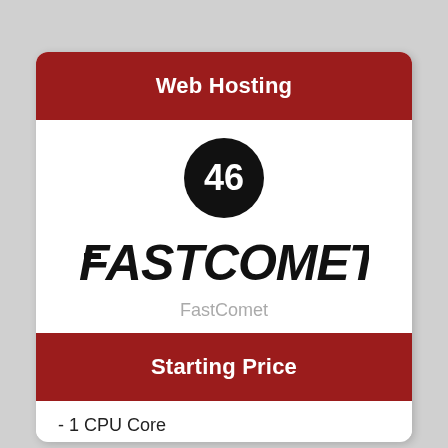Web Hosting
[Figure (logo): Number 46 inside a black circle]
[Figure (logo): FastComet brand logo in bold italic black text]
FastComet
Starting Price
- 1 CPU Core